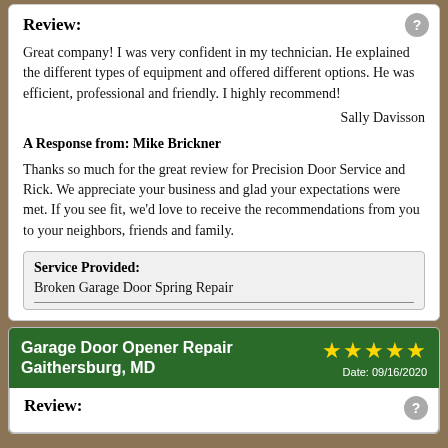Review:
Great company! I was very confident in my technician. He explained the different types of equipment and offered different options. He was efficient, professional and friendly. I highly recommend!
Sally Davisson
A Response from: Mike Brickner
Thanks so much for the great review for Precision Door Service and Rick. We appreciate your business and glad your expectations were met. If you see fit, we'd love to receive the recommendations from you to your neighbors, friends and family.
| Service Provided: |
| --- |
| Broken Garage Door Spring Repair |
Garage Door Opener Repair Gaithersburg, MD
Date: 09/16/2020
Review: